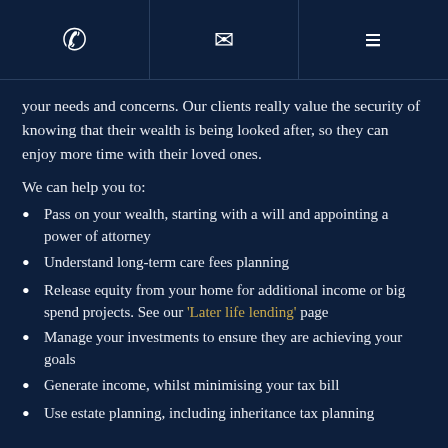[phone icon] [mail icon] [menu icon]
your needs and concerns. Our clients really value the security of knowing that their wealth is being looked after, so they can enjoy more time with their loved ones.
We can help you to:
Pass on your wealth, starting with a will and appointing a power of attorney
Understand long-term care fees planning
Release equity from your home for additional income or big spend projects. See our 'Later life lending' page
Manage your investments to ensure they are achieving your goals
Generate income, whilst minimising your tax bill
Use estate planning, including inheritance tax planning